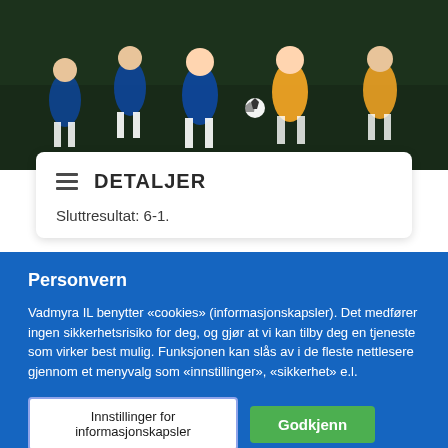[Figure (photo): Youth soccer match with players in blue and yellow/gold jerseys competing on a dark field]
DETALJER
Sluttresultat: 6-1.
Personvern
Vadmyra IL benytter «cookies» (informasjonskapsler). Det medfører ingen sikkerhetsrisiko for deg, og gjør at vi kan tilby deg en tjeneste som virker best mulig. Funksjonen kan slås av i de fleste nettlesere gjennom et menyvalg som «innstillinger», «sikkerhet» e.l.
Innstillinger for informasjonskapsler
Godkjenn